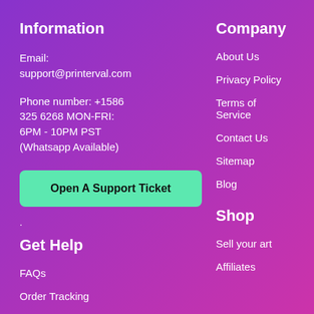Information
Email:
support@printerval.com
Phone number: +1586 325 6268 MON-FRI: 6PM - 10PM PST (Whatsapp Available)
[Figure (other): Green button labeled 'Open A Support Ticket']
.
Get Help
FAQs
Order Tracking
Company
About Us
Privacy Policy
Terms of Service
Contact Us
Sitemap
Blog
Shop
Sell your art
Affiliates